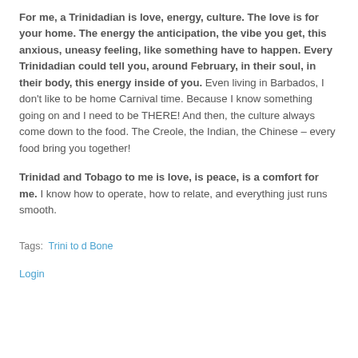For me, a Trinidadian is love, energy, culture. The love is for your home. The energy the anticipation, the vibe you get, this anxious, uneasy feeling, like something have to happen. Every Trinidadian could tell you, around February, in their soul, in their body, this energy inside of you. Even living in Barbados, I don't like to be home Carnival time. Because I know something going on and I need to be THERE! And then, the culture always come down to the food. The Creole, the Indian, the Chinese – every food bring you together!
Trinidad and Tobago to me is love, is peace, is a comfort for me. I know how to operate, how to relate, and everything just runs smooth.
Tags: Trini to d Bone
Login